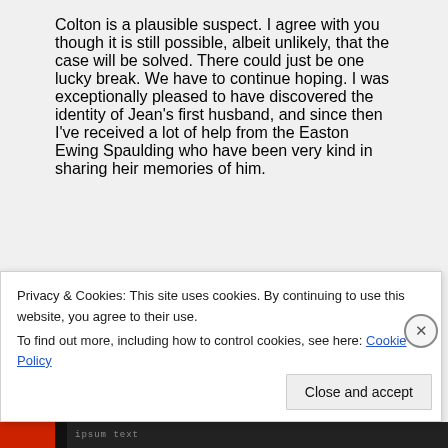Colton is a plausible suspect. I agree with you though it is still possible, albeit unlikely, that the case will be solved. There could just be one lucky break. We have to continue hoping. I was exceptionally pleased to have discovered the identity of Jean's first husband, and since then I've received a lot of help from the Easton Ewing Spaulding who have been very kind in sharing heir memories of him.
↪ Reply
Privacy & Cookies: This site uses cookies. By continuing to use this website, you agree to their use.
To find out more, including how to control cookies, see here: Cookie Policy
Close and accept